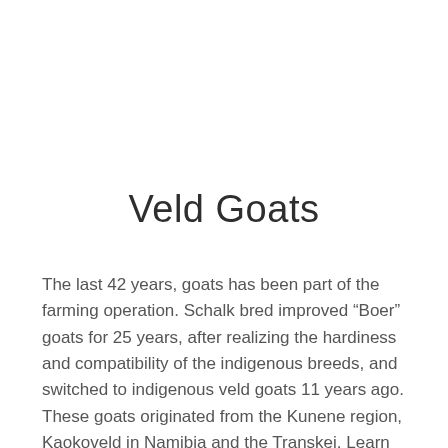Veld Goats
The last 42 years, goats has been part of the farming operation. Schalk bred improved “Boer” goats for 25 years, after realizing the hardiness and compatibility of the indigenous breeds, and switched to indigenous veld goats 11 years ago. These goats originated from the Kunene region, Kaokoveld in Namibia and the Transkei. Learn more about our Veld Goats.